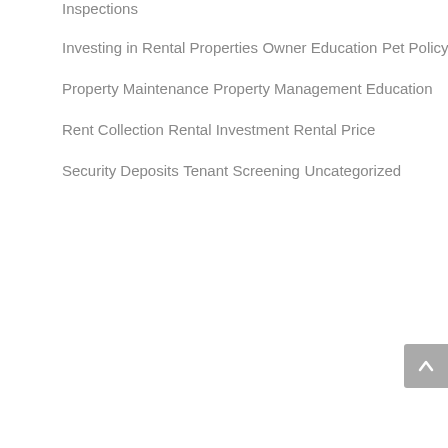Inspections
Investing in Rental Properties
Owner Education
Pet Policy
Property Maintenance
Property Management Education
Rent Collection
Rental Investment
Rental Price
Security Deposits
Tenant Screening
Uncategorized